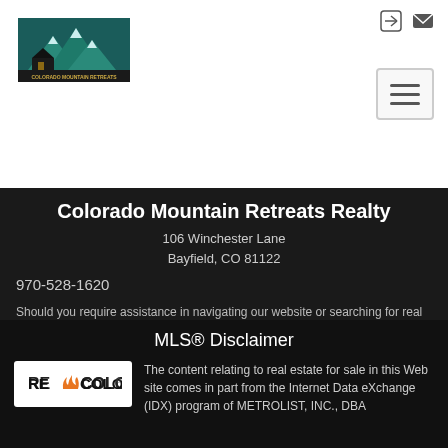[Figure (logo): Colorado Mountain Retreats logo — teal mountain scene with house silhouette, text COLORADO MOUNTAIN RETREATS below]
[Figure (other): Login and mail icons in top-right header]
[Figure (other): Hamburger menu toggle button]
Colorado Mountain Retreats Realty
106 Winchester Lane
Bayfield, CO 81122
970-528-1620
Should you require assistance in navigating our website or searching for real estate, please contact our offices at 970-528-1620.
MLS® Disclaimer
[Figure (logo): RE/COLORADO logo — orange flame icon with text RE COLORADO]
The content relating to real estate for sale in this Web site comes in part from the Internet Data eXchange (IDX) program of METROLIST, INC., DBA